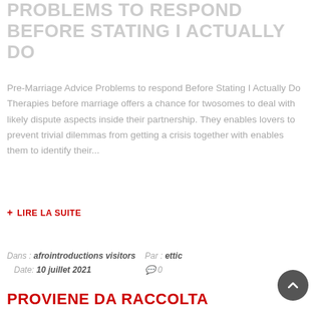PROBLEMS TO RESPOND BEFORE STATING I ACTUALLY DO
Pre-Marriage Advice Problems to respond Before Stating I Actually Do Therapies before marriage offers a chance for twosomes to deal with likely dispute aspects inside their partnership. They enables lovers to prevent trivial dilemmas from getting a crisis together with enables them to identify their...
+ LIRE LA SUITE
Dans : afrointroductions visitors   Par : ettic   Date: 10 juillet 2021   0
PROVIENE DA RACCOLTA